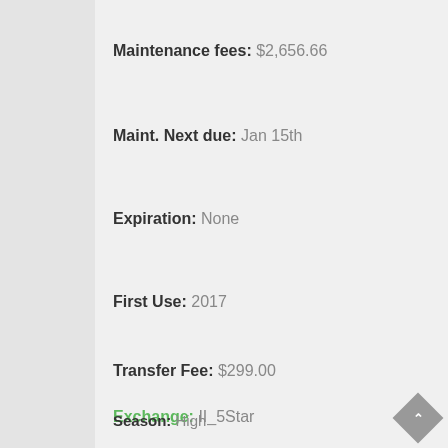Maintenance fees: $2,656.66
Maint. Next due: Jan 15th
Expiration: None
First Use: 2017
Transfer Fee: $299.00
Exchange: II_5Star
Season: High